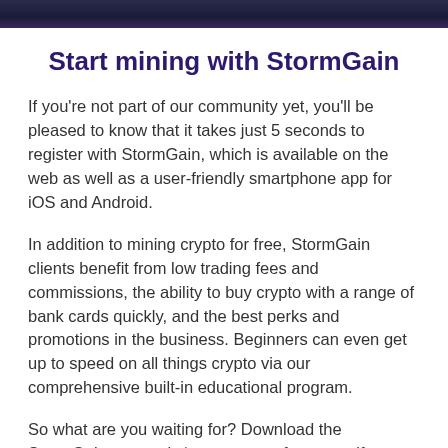[Figure (photo): Top banner image showing a dark blue/purple background with faint text/pattern, partially cut off at the top of the page]
Start mining with StormGain
If you're not part of our community yet, you'll be pleased to know that it takes just 5 seconds to register with StormGain, which is available on the web as well as a user-friendly smartphone app for iOS and Android.
In addition to mining crypto for free, StormGain clients benefit from low trading fees and commissions, the ability to buy crypto with a range of bank cards quickly, and the best perks and promotions in the business. Beginners can even get up to speed on all things crypto via our comprehensive built-in educational program.
So what are you waiting for? Download the StormGain app and sign up to see for yourself. Trade, hodl, exchange, and